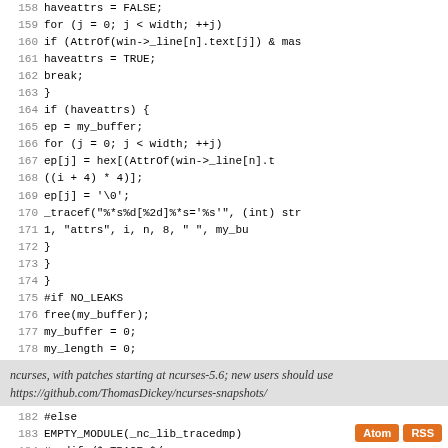Source code listing lines 158-184, ncurses library tracedmp module
ncurses, with patches starting at ncurses-5.6; new users should use https://github.com/ThomasDickey/ncurses-snapshots/